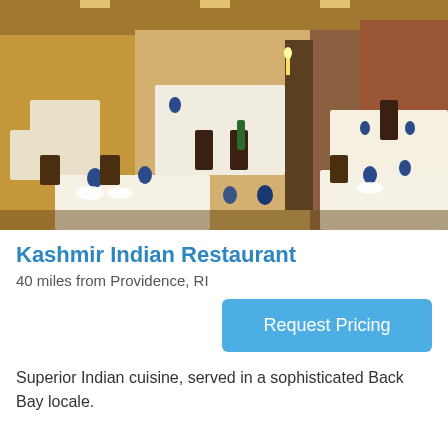[Figure (photo): Interior of Kashmir Indian Restaurant showing dining room with white tablecloths, dark wooden chairs, blue glassware, warm amber lighting and wooden wall panels]
Kashmir Indian Restaurant
40 miles from Providence, RI
Request Pricing
Superior Indian cuisine, served in a sophisticated Back Bay locale.